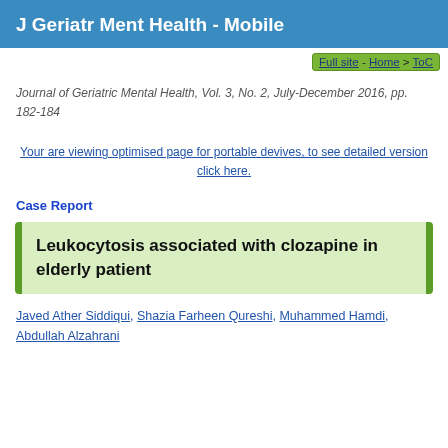J Geriatr Ment Health - Mobile
Full site - Home > ToC
Journal of Geriatric Mental Health, Vol. 3, No. 2, July-December 2016, pp. 182-184
Your are viewing optimised page for portable devives, to see detailed version click here.
Case Report
Leukocytosis associated with clozapine in elderly patient
Javed Ather Siddiqui, Shazia Farheen Qureshi, Muhammed Hamdi, Abdullah Alzahrani